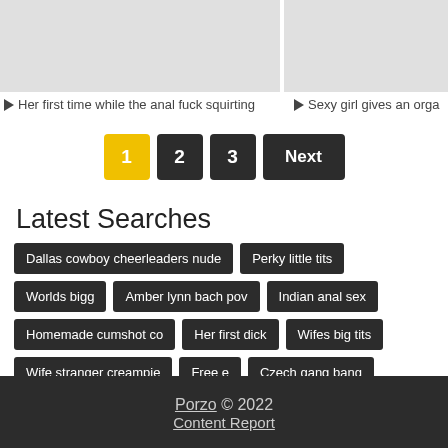[Figure (photo): Two thumbnail images side by side, gray placeholder boxes]
▶ Her first time while the anal fuck squirting
▶ Sexy girl gives an orga...
1  2  3  Next  (pagination)
Latest Searches
Dallas cowboy cheerleaders nude
Perky little tits
Worlds bigg...
Amber lynn bach pov
Indian anal sex
Homemade cumshot co...
Her first dick
Wifes big tits
Wife stranger creampie
Free e...
Czech gang bang
Incest anal
Ddf network
Big tit sucking...
Kimmy granger sislovesme
Porzo © 2022
Content Report